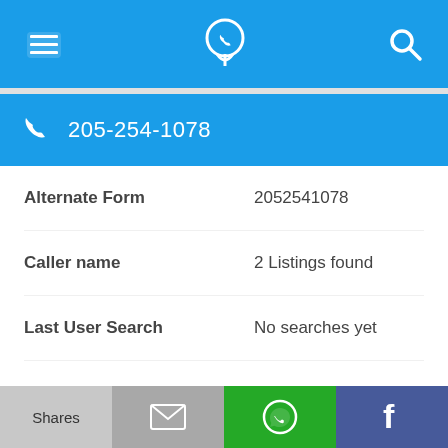Navigation bar with menu, phone locator logo, and search icons
205-254-1078
| Field | Value |
| --- | --- |
| Alternate Form | 2052541078 |
| Caller name | 2 Listings found |
| Last User Search | No searches yet |
| Comments |  |
205-254-1081
Shares | [email icon] | [WhatsApp icon] | [Facebook icon]